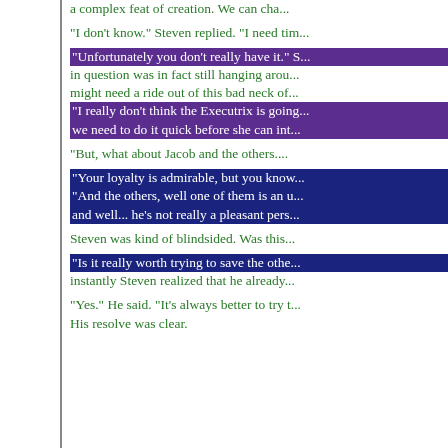a complex feat of creation. We can cha...
"I don't know." Steven replied. "I need tim...
"Unfortunately you don't really have it." S... in question was in fact still hanging arou... might need a ride out of this bad neck of... "I really don't think the Executrix is going... we need to do it quick before she can int...
"But, what about Jacob and the others....
"Your loyalty is admirable, but you know... "And the others, well one of them is an u... and well... he's not really a pleasant pers...
Steven was kind of blindsided. Was this...
"Is it really worth trying to save the othe... instantly Steven realized that he already...
"Yes." He said. "It's always better to try t... His resolve was clear.